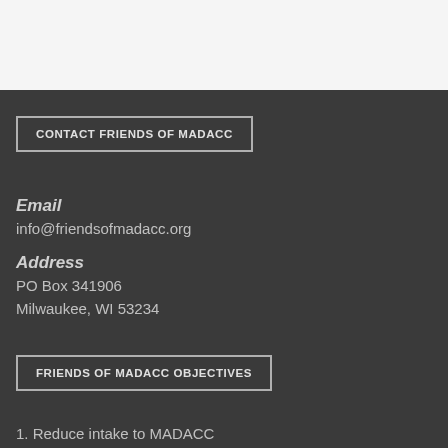CONTACT FRIENDS OF MADACC
Email
info@friendsofmadacc.org
Address
PO Box 341906
Milwaukee, WI 53234
FRIENDS OF MADACC OBJECTIVES
1. Reduce intake to MADACC